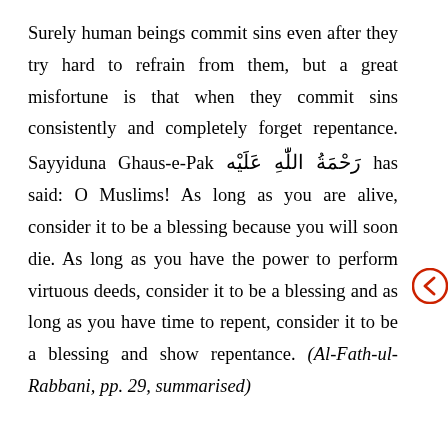Surely human beings commit sins even after they try hard to refrain from them, but a great misfortune is that when they commit sins consistently and completely forget repentance. Sayyiduna Ghaus-e-Pak رَحْمَةُ اللّٰهِ عَلَيْه has said: O Muslims! As long as you are alive, consider it to be a blessing because you will soon die. As long as you have the power to perform virtuous deeds, consider it to be a blessing and as long as you have time to repent, consider it to be a blessing and show repentance. (Al-Fath-ul-Rabbani, pp. 29, summarised)